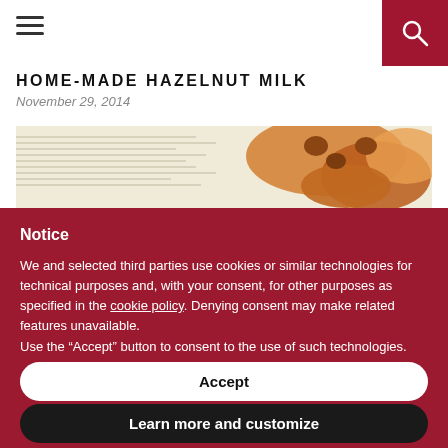HOME-MADE HAZELNUT MILK
November 29, 2014
[Figure (photo): Food image showing hazelnut-related food items on newspaper background]
Notice
We and selected third parties use cookies or similar technologies for technical purposes and, with your consent, for other purposes as specified in the cookie policy. Denying consent may make related features unavailable.
Use the “Accept” button to consent to the use of such technologies.
Accept
Learn more and customize